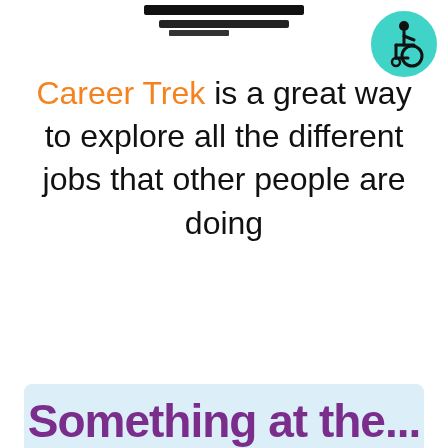[Figure (logo): Redacted/blacked-out logo or stamp at top center]
[Figure (illustration): Teal circle with a wheelchair accessibility icon (person in wheelchair) in black, top right corner]
Career Trek is a great way to explore all the different jobs that other people are doing
Something at the...